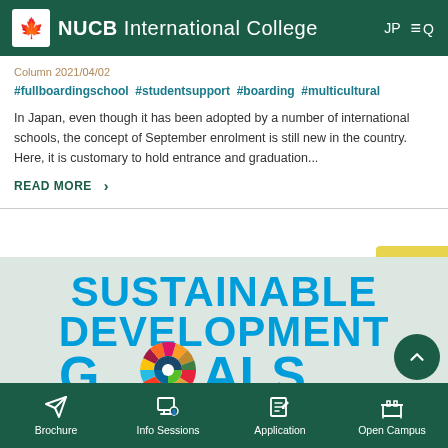NUCB International College
Column 2021/04/02
#fullboardingschool #studentsupport #boarding #multicultural
In Japan, even though it has been adopted by a number of international schools, the concept of September enrolment is still new in the country. Here, it is customary to hold entrance and graduation...
READ MORE >
[Figure (infographic): Sustainable Development Goals (SDG) logo with colorful circular wheel icon]
Brochure | Info Sessions | Application | Open Campus